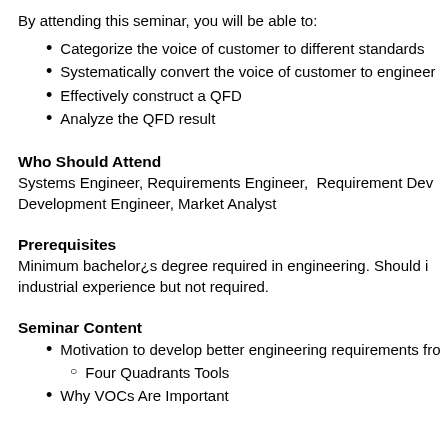By attending this seminar, you will be able to:
Categorize the voice of customer to different standards
Systematically convert the voice of customer to engineer
Effectively construct a QFD
Analyze the QFD result
Who Should Attend
Systems Engineer, Requirements Engineer,  Requirement Dev Development Engineer, Market Analyst
Prerequisites
Minimum bachelor¿s degree required in engineering. Should i industrial experience but not required.
Seminar Content
Motivation to develop better engineering requirements fro
Four Quadrants Tools
Why VOCs Are Important